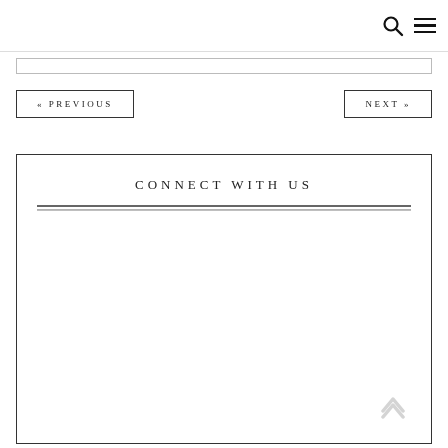Navigation header with search and menu icons
[top bar / input area]
« PREVIOUS    NEXT »
CONNECT WITH US